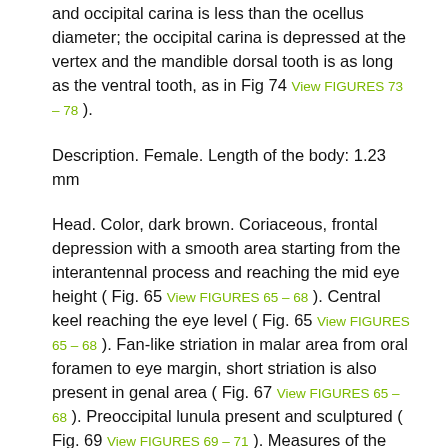and occipital carina is less than the ocellus diameter; the occipital carina is depressed at the vertex and the mandible dorsal tooth is as long as the ventral tooth, as in Fig 74 [View FIGURES 73 – 78] ).
Description. Female. Length of the body: 1.23 mm
Head. Color, dark brown. Coriaceous, frontal depression with a smooth area starting from the interantennal process and reaching the mid eye height ( Fig. 65 [View FIGURES 65 – 68] ). Central keel reaching the eye level ( Fig. 65 [View FIGURES 65 – 68] ). Fan-like striation in malar area from oral foramen to eye margin, short striation is also present in genal area ( Fig. 67 [View FIGURES 65 – 68] ). Preoccipital lunula present and sculptured ( Fig. 69 [View FIGURES 69 – 71] ). Measures of the head width: height: length = 0.5: 0.44: 0.26 mm. Malar sulcus length: 0.12 mm. Ratio of eye width: heigth = 0.17: 0.24 mm. OOL: LOL: POL = 0.1: 0.06: 0.11 mm. Distance lateral ocellus to occipital carina = 1 ocellar diameter. Mandibles bidentate with